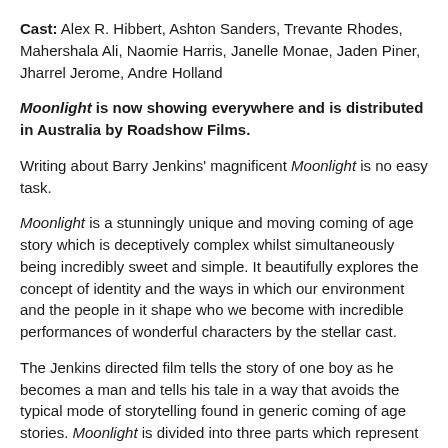Cast: Alex R. Hibbert, Ashton Sanders, Trevante Rhodes, Mahershala Ali, Naomie Harris, Janelle Monae, Jaden Piner, Jharrel Jerome, Andre Holland
Moonlight is now showing everywhere and is distributed in Australia by Roadshow Films.
Writing about Barry Jenkins' magnificent Moonlight is no easy task.
Moonlight is a stunningly unique and moving coming of age story which is deceptively complex whilst simultaneously being incredibly sweet and simple. It beautifully explores the concept of identity and the ways in which our environment and the people in it shape who we become with incredible performances of wonderful characters by the stellar cast.
The Jenkins directed film tells the story of one boy as he becomes a man and tells his tale in a way that avoids the typical mode of storytelling found in generic coming of age stories. Moonlight is divided into three parts which represent pre-adolescence, adolescence and adulthood and are each